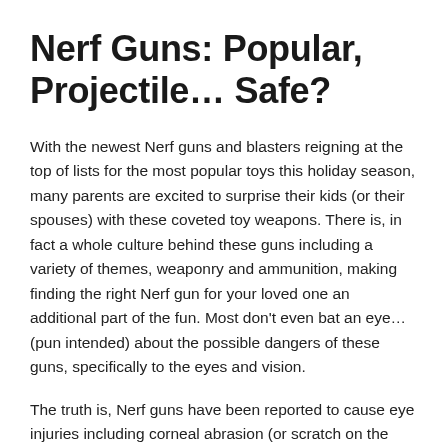Nerf Guns: Popular, Projectile… Safe?
With the newest Nerf guns and blasters reigning at the top of lists for the most popular toys this holiday season, many parents are excited to surprise their kids (or their spouses) with these coveted toy weapons. There is, in fact a whole culture behind these guns including a variety of themes, weaponry and ammunition, making finding the right Nerf gun for your loved one an additional part of the fun. Most don't even bat an eye…(pun intended) about the possible dangers of these guns, specifically to the eyes and vision.
The truth is, Nerf guns have been reported to cause eye injuries including corneal abrasion (or scratch on the eye), internal bleeding in and around the eye, pain, blurred vision, and temporary loss of vision. Blurry vision